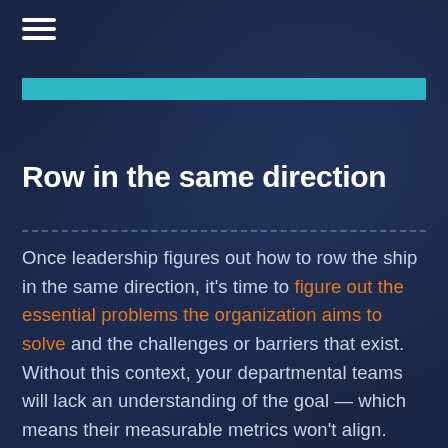≡
Row in the same direction
Once leadership figures out how to row the ship in the same direction, it's time to figure out the essential problems the organization aims to solve and the challenges or barriers that exist. Without this context, your departmental teams will lack an understanding of the goal — which means their measurable metrics won't align. Simply put, what is your